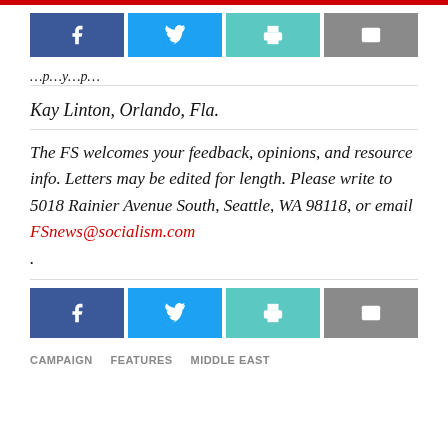[Figure (screenshot): Social sharing buttons row (Facebook, Twitter, Print, Email) at top of page]
…p…y…p…
Kay Linton, Orlando, Fla.
The FS welcomes your feedback, opinions, and resource info. Letters may be edited for length. Please write to 5018 Rainier Avenue South, Seattle, WA 98118, or email FSnews@socialism.com
.
[Figure (screenshot): Social sharing buttons row (Facebook, Twitter, Print, Email) at bottom of page]
CAMPAIGN   FEATURES   MIDDLE EAST